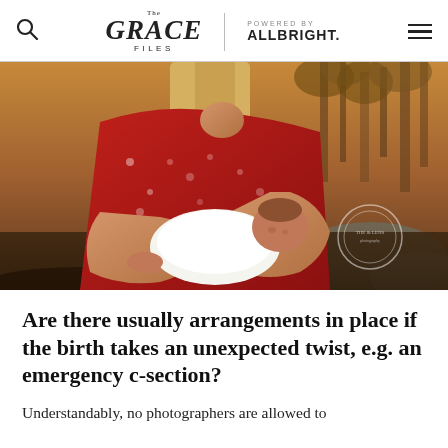The Grace Files | Powered by ALLBRIGHT.
[Figure (photo): Woman in red floral dress holding a newborn baby wrapped in white, outdoors in a natural setting with rocks and trees at golden hour. A watermark circle logo is visible in the lower right corner.]
Are there usually arrangements in place if the birth takes an unexpected twist, e.g. an emergency c-section?
Understandably, no photographers are allowed to